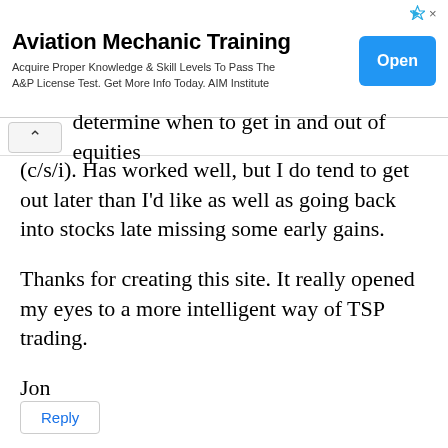[Figure (other): Advertisement banner for Aviation Mechanic Training by AIM Institute with an Open button]
determine when to get in and out of equities (c/s/i). Has worked well, but I do tend to get out later than I'd like as well as going back into stocks late missing some early gains.

Thanks for creating this site. It really opened my eyes to a more intelligent way of TSP trading.

Jon